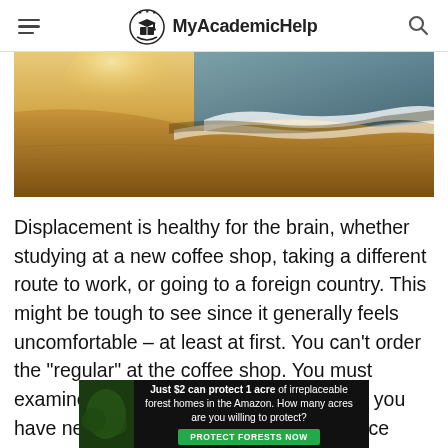MyAcademicHelp
[Figure (photo): Beach scene with golden sand and ocean waves with white foam, sunlit]
Displacement is healthy for the brain, whether studying at a new coffee shop, taking a different route to work, or going to a foreign country. This might be tough to see since it generally feels uncomfortable – at least at first. You can't order the “regular” at the coffee shop. You must examine a new menu, choose something you have never tried before, and make a choice
[Figure (infographic): Advertisement banner: Just $2 can protect 1 acre of irreplaceable forest homes in the Amazon. How many acres are you willing to protect? PROTECT FORESTS NOW button]